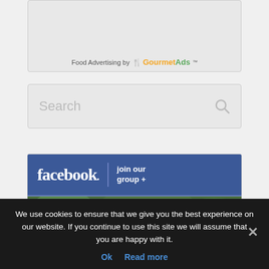[Figure (other): Advertisement box with 'Food Advertising by GourmetAds' label]
[Figure (other): Search bar with placeholder text 'Search' and a search icon on the right]
[Figure (other): Facebook group banner showing 'facebook. join our group +' text over a blue background, with a photo of a group of women below]
We use cookies to ensure that we give you the best experience on our website. If you continue to use this site we will assume that you are happy with it.
Ok   Read more